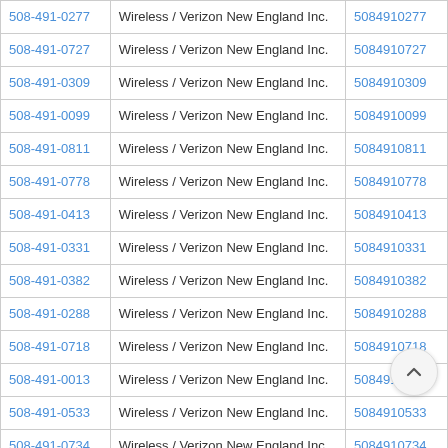| Phone | Carrier | Number |
| --- | --- | --- |
| 508-491-0277 | Wireless / Verizon New England Inc. | 5084910277 |
| 508-491-0727 | Wireless / Verizon New England Inc. | 5084910727 |
| 508-491-0309 | Wireless / Verizon New England Inc. | 5084910309 |
| 508-491-0099 | Wireless / Verizon New England Inc. | 5084910099 |
| 508-491-0811 | Wireless / Verizon New England Inc. | 5084910811 |
| 508-491-0778 | Wireless / Verizon New England Inc. | 5084910778 |
| 508-491-0413 | Wireless / Verizon New England Inc. | 5084910413 |
| 508-491-0331 | Wireless / Verizon New England Inc. | 5084910331 |
| 508-491-0382 | Wireless / Verizon New England Inc. | 5084910382 |
| 508-491-0288 | Wireless / Verizon New England Inc. | 5084910288 |
| 508-491-0718 | Wireless / Verizon New England Inc. | 5084910718 |
| 508-491-0013 | Wireless / Verizon New England Inc. | 5084910013 |
| 508-491-0533 | Wireless / Verizon New England Inc. | 5084910533 |
| 508-491-0734 | Wireless / Verizon New England Inc. | 5084910734 |
| 508-491-0002 | Wireless / Verizon New England Inc. | 5084910002 |
| 508-491-0810 | Wireless / Verizon New England Inc. | 5084910810 |
| 508-491-0130 | Wireless / Verizon New England Inc. | 5084910130 |
| 508-491-0383 | Wireless / Verizon New England Inc. | 5084910383 |
| 508-491-0321 | Wireless / Verizon New England Inc. | 5084910321 |